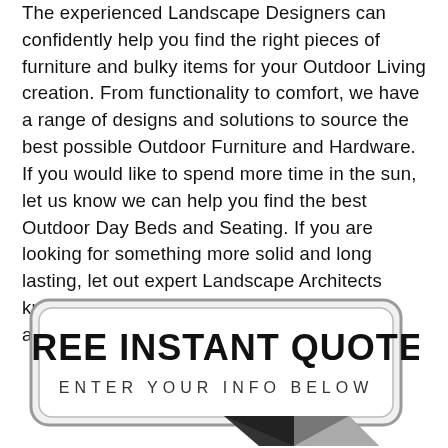The experienced Landscape Designers can confidently help you find the right pieces of furniture and bulky items for your Outdoor Living creation. From functionality to comfort, we have a range of designs and solutions to source the best possible Outdoor Furniture and Hardware. If you would like to spend more time in the sun, let us know we can help you find the best Outdoor Day Beds and Seating. If you are looking for something more solid and long lasting, let out expert Landscape Architects know your ideas, they are happy to help you achieve the results you are looking for.
[Figure (infographic): Rounded rectangle banner with 'FREE INSTANT QUOTE' in bold large text and 'ENTER YOUR INFO BELOW' in spaced smaller text, with a downward-pointing chevron/arrow graphic at the bottom right.]